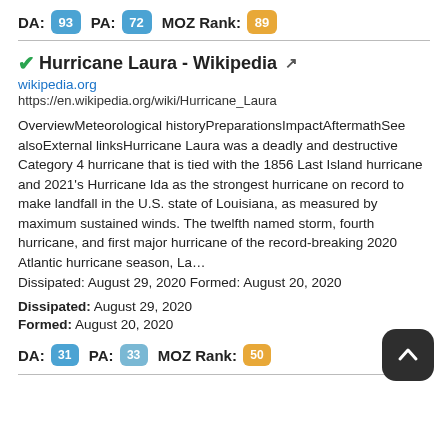DA: 93  PA: 72  MOZ Rank: 89
Hurricane Laura - Wikipedia
wikipedia.org
https://en.wikipedia.org/wiki/Hurricane_Laura
OverviewMeteorological historyPreparationsImpactAftermathSee alsoExternal linksHurricane Laura was a deadly and destructive Category 4 hurricane that is tied with the 1856 Last Island hurricane and 2021's Hurricane Ida as the strongest hurricane on record to make landfall in the U.S. state of Louisiana, as measured by maximum sustained winds. The twelfth named storm, fourth hurricane, and first major hurricane of the record-breaking 2020 Atlantic hurricane season, La… Dissipated: August 29, 2020 Formed: August 20, 2020
Dissipated: August 29, 2020
Formed: August 20, 2020
DA: 31  PA: 33  MOZ Rank: 50